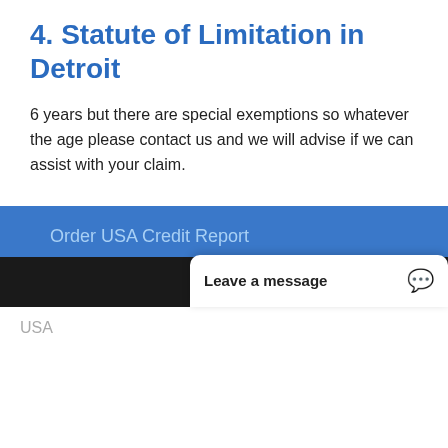4. Statute of Limitation in Detroit
6 years but there are special exemptions so whatever the age please contact us and we will advise if we can assist with your claim.
[Figure (screenshot): Blue button labeled 'Order USA Credit Report']
[Figure (screenshot): Dark overlay cookie consent dialog with text 'Our site uses cookies. For more information, see our cookie policy.' and 'Accept cookies and close' button, 'Reject cooki...' button, and a chat widget with 'Leave a message']